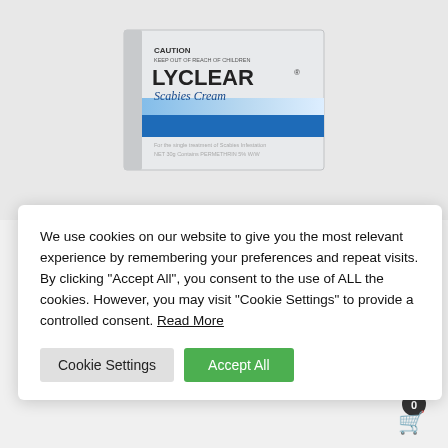[Figure (photo): LYCLEAR Scabies Cream product box, white/grey with blue stripe. Shows CAUTION text, LYCLEAR brand name, Scabies Cream label, and product details including Permethrin 5% w/w, NET 30g.]
We use cookies on our website to give you the most relevant experience by remembering your preferences and repeat visits. By clicking "Accept All", you consent to the use of ALL the cookies. However, you may visit "Cookie Settings" to provide a controlled consent. Read More
Cookie Settings   Accept All